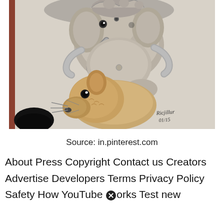[Figure (illustration): A pencil drawing of Ganesha (Hindu elephant deity) sitting atop a mouse (mushika), drawn in graphite/pencil on white paper. The mouse is in the foreground looking forward, and Ganesha is above. There is an artist signature and date '01/15' visible in the lower right.]
Source: in.pinterest.com
About Press Copyright Contact us Creators Advertise Developers Terms Privacy Policy Safety How YouTube [X] orks Test new